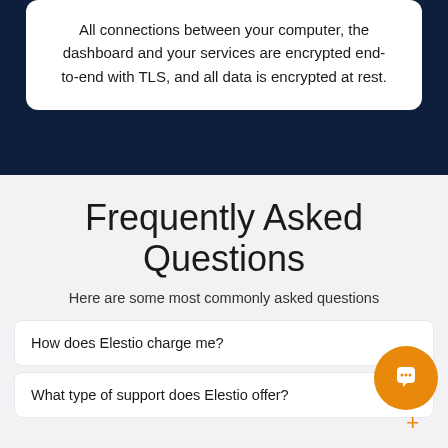All connections between your computer, the dashboard and your services are encrypted end-to-end with TLS, and all data is encrypted at rest.
Frequently Asked Questions
Here are some most commonly asked questions
How does Elestio charge me?
What type of support does Elestio offer?